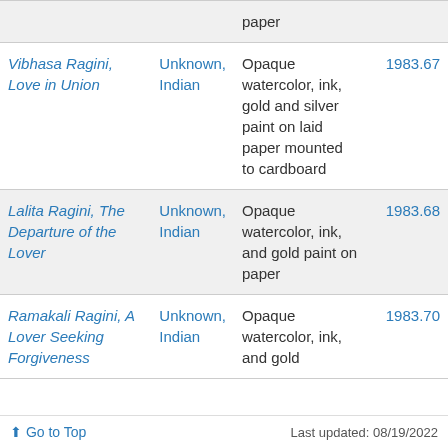| Title | Artist | Medium | Accession |
| --- | --- | --- | --- |
| [partial top] paper |  |  |  |
| Vibhasa Ragini, Love in Union | Unknown, Indian | Opaque watercolor, ink, gold and silver paint on laid paper mounted to cardboard | 1983.67 |
| Lalita Ragini, The Departure of the Lover | Unknown, Indian | Opaque watercolor, ink, and gold paint on paper | 1983.68 |
| Ramakali Ragini, A Lover Seeking Forgiveness | Unknown, Indian | Opaque watercolor, ink, and gold [partial] | 1983.70 |
⬆ Go to Top   Last updated: 08/19/2022